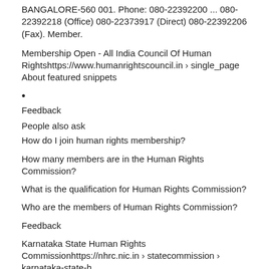BANGALORE-560 001. Phone: 080-22392200 ... 080-22392218 (Office) 080-22373917 (Direct) 080-22392206 (Fax). Member.
Membership Open - All India Council Of Human Rightshttps://www.humanrightscouncil.in › single_page
About featured snippets
•
Feedback
People also ask
How do I join human rights membership?
How many members are in the Human Rights Commission?
What is the qualification for Human Rights Commission?
Who are the members of Human Rights Commission?
Feedback
Karnataka State Human Rights Commissionhttps://nhrc.nic.in › statecommission › karnataka-state-h...
26-Nov-2020 — Karnataka. 1. Hon'ble Chairperson. Justice Dhirendra H Waghela.